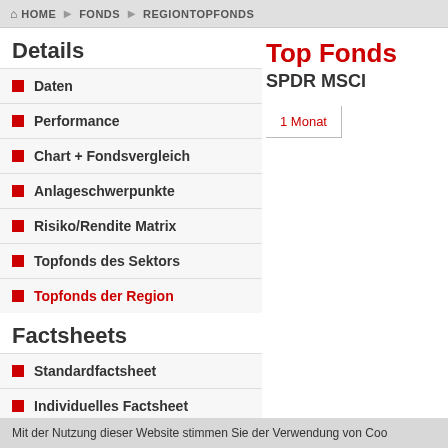HOME > FONDS > REGIONTOPFONDS
Details
Daten
Performance
Chart + Fondsvergleich
Anlageschwerpunkte
Risiko/Rendite Matrix
Topfonds des Sektors
Topfonds der Region
Factsheets
Standardfactsheet
Individuelles Factsheet
Originaldokumente
Top Fonds
SPDR MSCI
1 Monat
Mit der Nutzung dieser Website stimmen Sie der Verwendung von Coo